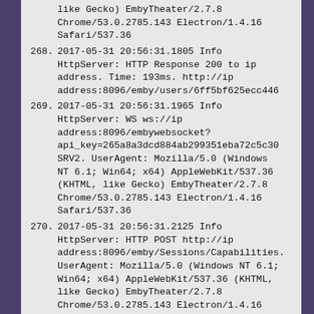like Gecko) EmbyTheater/2.7.8 Chrome/53.0.2785.143 Electron/1.4.16 Safari/537.36
268. 2017-05-31 20:56:31.1805 Info HttpServer: HTTP Response 200 to ip address. Time: 193ms. http://ip address:8096/emby/users/6ff5bf625ecc446
269. 2017-05-31 20:56:31.1965 Info HttpServer: WS ws://ip address:8096/embywebsocket?api_key=265a8a3dcd884ab299351eba72c5c30 SRV2. UserAgent: Mozilla/5.0 (Windows NT 6.1; Win64; x64) AppleWebKit/537.36 (KHTML, like Gecko) EmbyTheater/2.7.8 Chrome/53.0.2785.143 Electron/1.4.16 Safari/537.36
270. 2017-05-31 20:56:31.2125 Info HttpServer: HTTP POST http://ip address:8096/emby/Sessions/Capabilities. UserAgent: Mozilla/5.0 (Windows NT 6.1; Win64; x64) AppleWebKit/537.36 (KHTML, like Gecko) EmbyTheater/2.7.8 Chrome/53.0.2785.143 Electron/1.4.16 Safari/537.36
271. 2017-05-31 20:56:31.2325 Info HttpServer: HTTP GET http://ip address:8096/emby/DisplayPreferences/us userId=6ff5bf625ecc446699734b5022a4ee13